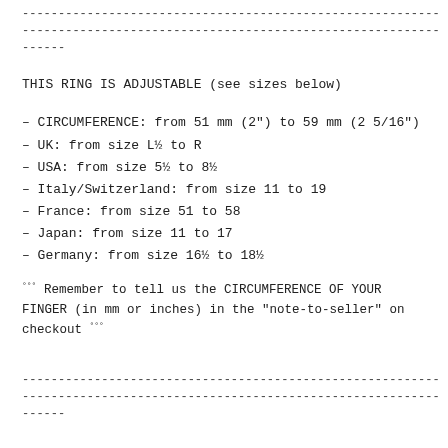-------------------------------------------------------------------------- -------------------------------------------------------------------------- ------
THIS RING IS ADJUSTABLE (see sizes below)
- CIRCUMFERENCE: from 51 mm (2") to 59 mm (2 5/16")
- UK: from size L½ to R
- USA: from size 5½ to 8½
- Italy/Switzerland: from size 11 to 19
- France: from size 51 to 58
- Japan: from size 11 to 17
- Germany: from size 16½ to 18½
°°° Remember to tell us the CIRCUMFERENCE OF YOUR FINGER (in mm or inches) in the "note-to-seller" on checkout °°°
-------------------------------------------------------------------------- -------------------------------------------------------------------------- ------